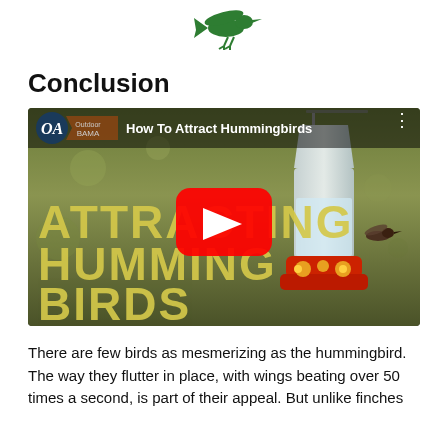[Figure (illustration): Small green bird icon flying, viewed from above, positioned at top center of page]
Conclusion
[Figure (screenshot): YouTube video thumbnail showing 'How To Attract Hummingbirds' with OA (Outdoor Alabama) logo, large yellow text reading ATTRACTING HUMMINGBIRDS on a natural background with a hummingbird feeder, and a red YouTube play button in the center]
There are few birds as mesmerizing as the hummingbird. The way they flutter in place, with wings beating over 50 times a second, is part of their appeal. But unlike finches